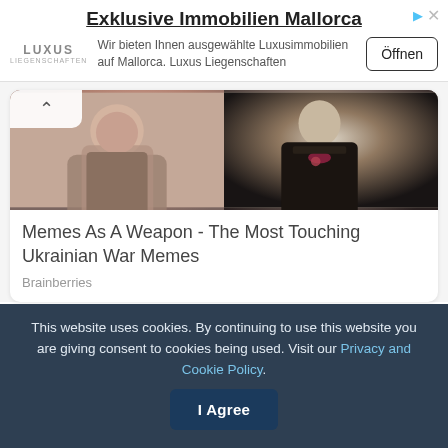[Figure (screenshot): Advertisement banner for Luxus Immobilien Mallorca with logo, description text, and Öffnen button]
Exklusive Immobilien Mallorca
Wir bieten Ihnen ausgewählte Luxusimmobilien auf Mallorca. Luxus Liegenschaften
[Figure (photo): Two side-by-side images: left shows a woman from behind, right shows an older man in a suit with bow tie]
Memes As A Weapon - The Most Touching Ukrainian War Memes
Brainberries
Tags: NAPO
This website uses cookies. By continuing to use this website you are giving consent to cookies being used. Visit our Privacy and Cookie Policy.